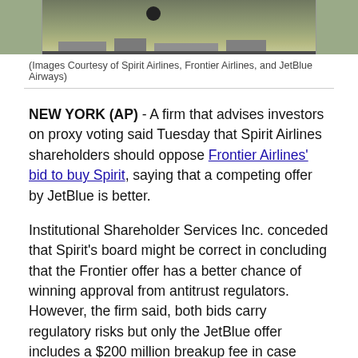[Figure (photo): Aerial/ground view of an airport runway with buildings and aircraft in the background]
(Images Courtesy of Spirit Airlines, Frontier Airlines, and JetBlue Airways)
NEW YORK (AP) - A firm that advises investors on proxy voting said Tuesday that Spirit Airlines shareholders should oppose Frontier Airlines' bid to buy Spirit, saying that a competing offer by JetBlue is better.
Institutional Shareholder Services Inc. conceded that Spirit's board might be correct in concluding that the Frontier offer has a better chance of winning approval from antitrust regulators. However, the firm said, both bids carry regulatory risks but only the JetBlue offer includes a $200 million breakup fee in case regulators reject it.